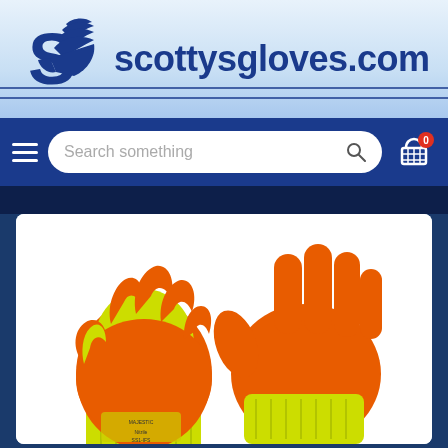[Figure (logo): Scotty's Gloves logo with blue wing icon and text 'scottysgloves.com']
scottysgloves.com
[Figure (screenshot): E-commerce navigation bar with hamburger menu, search box saying 'Search something', and cart icon with 0 badge]
[Figure (photo): Product photo of two orange and yellow high-visibility work gloves with latex coating. Gloves have fluorescent yellow knit back and orange latex palm coating. Label visible on wrist area.]